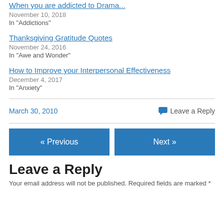When you are addicted to Drama...
November 10, 2018
In "Addictions"
Thanksgiving Gratitude Quotes
November 24, 2016
In "Awe and Wonder"
How to Improve your Interpersonal Effectiveness
December 4, 2017
In "Anxiety"
March 30, 2010    Leave a Reply
« Previous    Next »
Leave a Reply
Your email address will not be published. Required fields are marked *